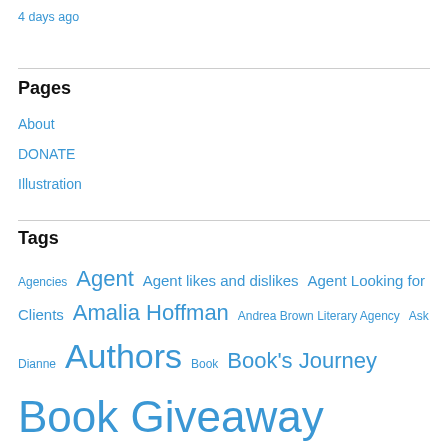4 days ago
Pages
About
DONATE
Illustration
Tags
Agencies Agent Agent likes and dislikes Agent Looking for Clients Amalia Hoffman Andrea Brown Literary Agency Ask Dianne Authors Book Book's Journey Book Giveaway Book Journey book publisher Book Winners